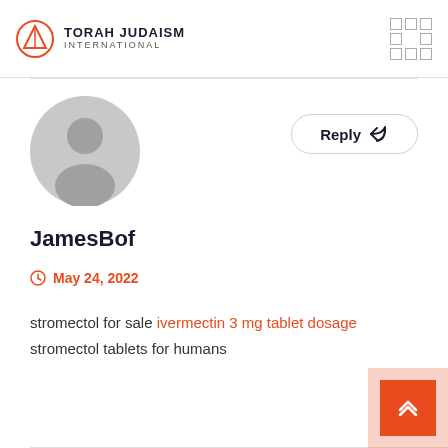TORAH JUDAISM INTERNATIONAL
[Figure (illustration): Default user avatar - grey circle with person silhouette]
Reply
JamesBof
May 24, 2022
stromectol for sale ivermectin 3 mg tablet dosage stromectol tablets for humans